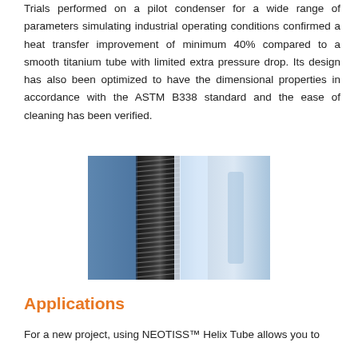Trials performed on a pilot condenser for a wide range of parameters simulating industrial operating conditions confirmed a heat transfer improvement of minimum 40% compared to a smooth titanium tube with limited extra pressure drop. Its design has also been optimized to have the dimensional properties in accordance with the ASTM B338 standard and the ease of cleaning has been verified.
[Figure (photo): Close-up photograph of a helical/finned titanium tube against a blue blurred background, showing the spiral groove pattern of the Helix Tube product.]
Applications
For a new project, using NEOTISS™ Helix Tube allows you to